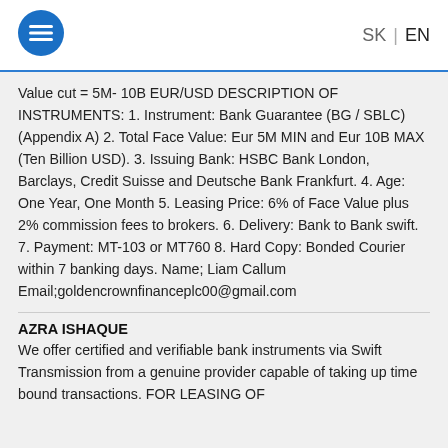SK | EN
Value cut = 5M- 10B EUR/USD DESCRIPTION OF INSTRUMENTS: 1. Instrument: Bank Guarantee (BG / SBLC) (Appendix A) 2. Total Face Value: Eur 5M MIN and Eur 10B MAX (Ten Billion USD). 3. Issuing Bank: HSBC Bank London, Barclays, Credit Suisse and Deutsche Bank Frankfurt. 4. Age: One Year, One Month 5. Leasing Price: 6% of Face Value plus 2% commission fees to brokers. 6. Delivery: Bank to Bank swift. 7. Payment: MT-103 or MT760 8. Hard Copy: Bonded Courier within 7 banking days. Name; Liam Callum Email;goldencrownfinanceplc00@gmail.com
AZRA ISHAQUE
We offer certified and verifiable bank instruments via Swift Transmission from a genuine provider capable of taking up time bound transactions. FOR LEASING OF